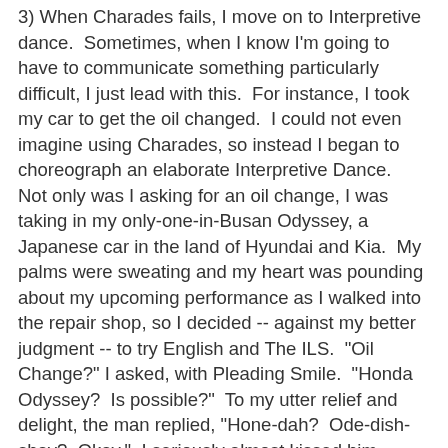3) When Charades fails, I move on to Interpretive dance.  Sometimes, when I know I'm going to have to communicate something particularly difficult, I just lead with this.  For instance, I took my car to get the oil changed.  I could not even imagine using Charades, so instead I began to choreograph an elaborate Interpretive Dance.  Not only was I asking for an oil change, I was taking in my only-one-in-Busan Odyssey, a Japanese car in the land of Hyundai and Kia.  My palms were sweating and my heart was pounding about my upcoming performance as I walked into the repair shop, so I decided -- against my better judgment -- to try English and The ILS.  "Oil Change?" I asked, with Pleading Smile.  "Honda Odyssey?  Is possible?"  To my utter relief and delight, the man replied, "Hone-dah?  Ode-dish-shay?  Okay."  I seriously almost kissed him.  However, I did end up paying $150 for it, because I think I agreed to some kind of tune-up package.  Matt wasn't thrilled, but as I pointed out, I'd gone in for an oil change and come out with an oil change -- did the price even matter???
Now, some of you tech-savvy types are probably reading this and thinking, Why not use Google Translate?